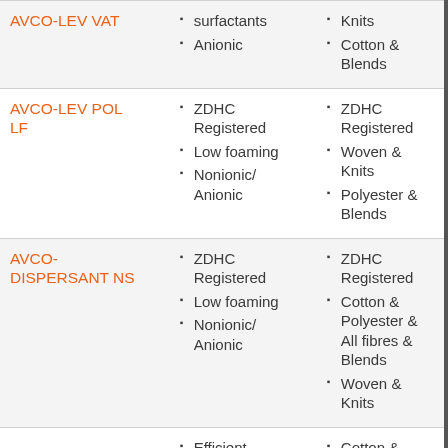| Product | Features | Applications |
| --- | --- | --- |
| AVCO-LEV VAT | surfactants
Anionic | Knits
Cotton & Blends |
| AVCO-LEV POL LF | ZDHC Registered
Low foaming
Nonionic/Anionic | ZDHC Registered
Woven & Knits
Polyester & Blends |
| AVCO-DISPERSANT NS | ZDHC Registered
Low foaming
Nonionic/Anionic | ZDHC Registered
Cotton & Polyester & All fibres & Blends
Woven & Knits |
|  | Efficient detergent for... | Cotton & Polyester & All fibres &... |